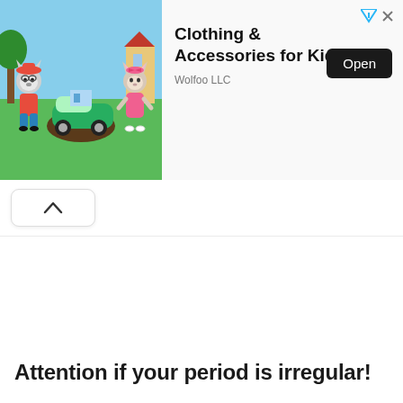[Figure (illustration): Mobile app advertisement banner for Wolfoo LLC showing animated wolf characters (children's clothing app). Contains cartoon wolves playing with a toy car on a green lawn, with trees and buildings in background.]
Clothing & Accessories for Kid
Wolfoo LLC
Open
[Figure (screenshot): Collapse/minimize arrow button (upward chevron) in a rounded rectangle button]
Attention if your period is irregular!